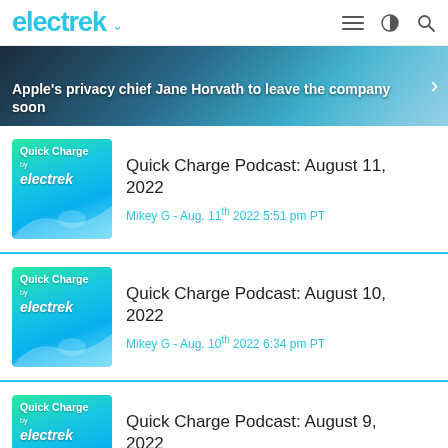electrek
[Figure (screenshot): Hero banner showing article headline: Apple's privacy chief Jane Horvath to leave the company soon]
Quick Charge Podcast: August 11, 2022
Mikey G - Aug. 11th 2022 5:51 pm PT
Quick Charge Podcast: August 10, 2022
Mikey G - Aug. 10th 2022 6:34 pm PT
Quick Charge Podcast: August 9, 2022
Mikey G - Aug. 9th 2022 5:37 pm PT
9TO5TOYS